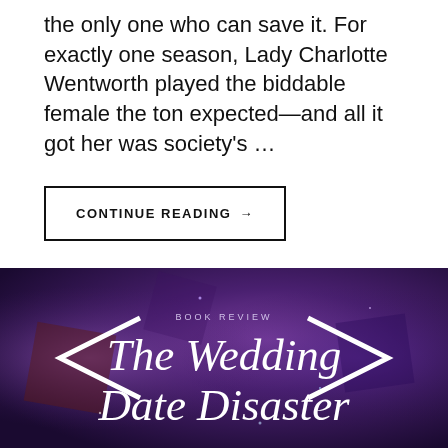the only one who can save it. For exactly one season, Lady Charlotte Wentworth played the biddable female the ton expected—and all it got her was society's …
CONTINUE READING →
[Figure (illustration): Dark purple and violet geometric banner with large white chevron arrows on left and right sides. Contains text 'BOOK REVIEW' in small caps at top center, and script text 'The Wedding Date Disaster' in white cursive/italic font.]